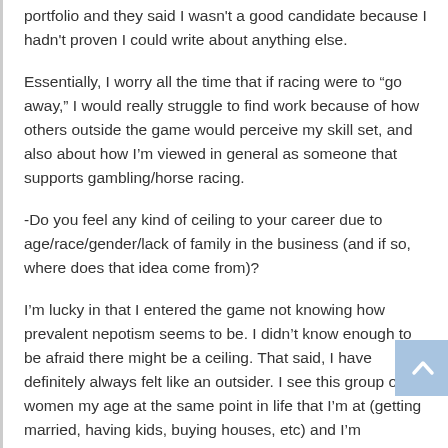portfolio and they said I wasn't a good candidate because I hadn't proven I could write about anything else.
Essentially, I worry all the time that if racing were to “go away,” I would really struggle to find work because of how others outside the game would perceive my skill set, and also about how I’m viewed in general as someone that supports gambling/horse racing.
-Do you feel any kind of ceiling to your career due to age/race/gender/lack of family in the business (and if so, where does that idea come from)?
I’m lucky in that I entered the game not knowing how prevalent nepotism seems to be. I didn’t know enough to be afraid there might be a ceiling. That said, I have definitely always felt like an outsider. I see this group of women my age at the same point in life that I’m at (getting married, having kids, buying houses, etc) and I’m